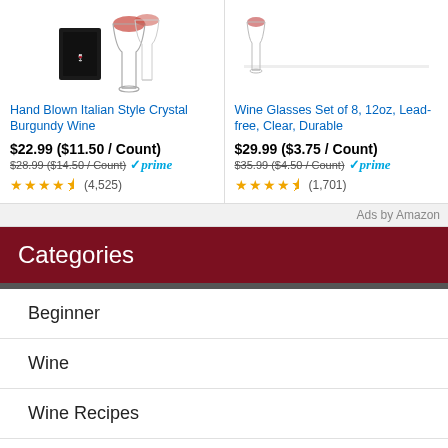[Figure (photo): Product image: Hand blown crystal burgundy wine glass with black box packaging]
Hand Blown Italian Style Crystal Burgundy Wine
$22.99 ($11.50 / Count)
$28.99 ($14.50 / Count) prime
★★★★☆ (4,525)
[Figure (photo): Product image: Set of 8 clear wine glasses arranged in a row]
Wine Glasses Set of 8, 12oz, Lead-free, Clear, Durable
$29.99 ($3.75 / Count)
$35.99 ($4.50 / Count) prime
★★★★☆ (1,701)
Ads by Amazon
Categories
Beginner
Wine
Wine Recipes
Wine Review